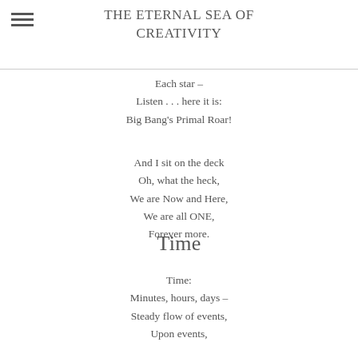THE ETERNAL SEA OF CREATIVITY
Each star –
Listen . . . here it is:
Big Bang's Primal Roar!

And I sit on the deck
Oh, what the heck,
We are Now and Here,
We are all ONE,
Forever more.
Time
Time:
Minutes, hours, days –
Steady flow of events,
Upon events,